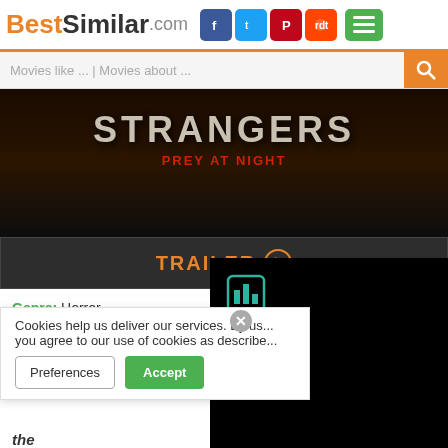BestSimilar.com
Movies like ... | Movies about ...
[Figure (photo): Dark movie banner for 'Strangers: Prey at Night' showing title text in large letters with dark forest background]
TRAILER ▶
Genre: Horror
Country: USA, UK
Duration: 85 min.
+ Watchlist
Story: A family's road trip takes a
Cookies help us deliver our services. By us... you agree to our use of cookies as describe...
Preferences
Accept